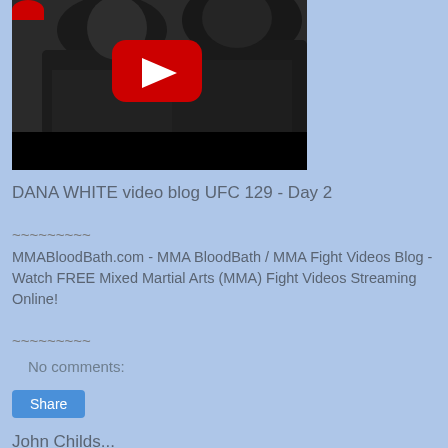[Figure (screenshot): YouTube video thumbnail showing people in dark jackets, with a red YouTube play button in the center and a black bar at the bottom. A small red circle is partially visible at top left.]
DANA WHITE video blog UFC 129 - Day 2
~~~~~~~~~
MMABloodBath.com - MMA BloodBath / MMA Fight Videos Blog - Watch FREE Mixed Martial Arts (MMA) Fight Videos Streaming Online!
~~~~~~~~~
No comments:
Share
John Childs...